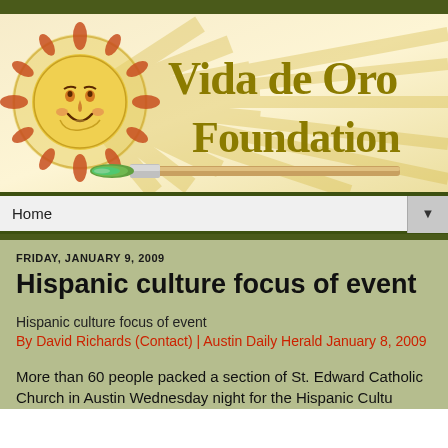[Figure (logo): Vida de Oro Foundation logo with decorative sun illustration and paintbrush, on a warm yellow-cream background with sunburst rays]
Home
FRIDAY, JANUARY 9, 2009
Hispanic culture focus of event
Hispanic culture focus of event
By David Richards (Contact) | Austin Daily Herald January 8, 2009
More than 60 people packed a section of St. Edward Catholic Church in Austin Wednesday night for the Hispanic Cultural Awareness Evening. The event featured...